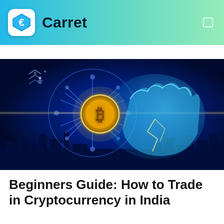Carret
[Figure (illustration): A glowing robotic/digital hand holding a Bitcoin gold coin against a dark blue background with the Indian flag Ashoka Chakra wheel symbol glowing behind. Futuristic financial technology themed illustration.]
Beginners Guide: How to Trade in Cryptocurrency in India